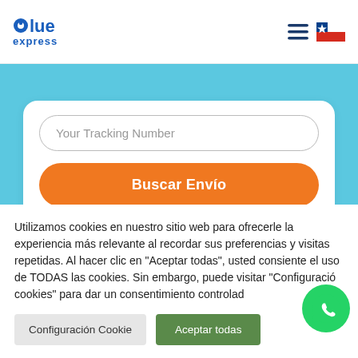[Figure (logo): Blue Express logo with blue stylized 'b' dot and text 'blue express']
[Figure (infographic): Hamburger menu icon and Chilean flag icon in top right]
Your Tracking Number
Buscar Envío
Utilizamos cookies en nuestro sitio web para ofrecerle la experiencia más relevante al recordar sus preferencias y visitas repetidas. Al hacer clic en "Aceptar todas", usted consiente el uso de TODAS las cookies. Sin embargo, puede visitar "Configuración cookies" para dar un consentimiento controlado.
Configuración Cookie
Aceptar todas
[Figure (illustration): WhatsApp green circle button icon]